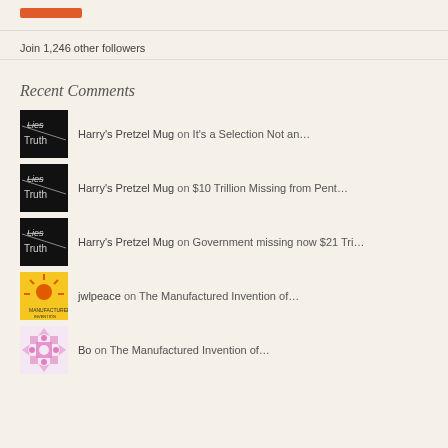[Figure (other): Orange/red button rectangle at top]
Join 1,246 other followers
Recent Comments
Harry's Pretzel Mug on It's a Selection Not an…
Harry's Pretzel Mug on $10 Trillion Missing from Pent…
Harry's Pretzel Mug on Government missing now $21 Tri…
jwlpeace on The Manufactured Invention of…
Bo on The Manufactured Invention of…